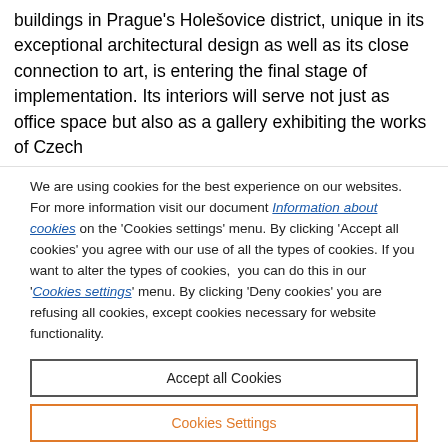buildings in Prague's Holešovice district, unique in its exceptional architectural design as well as its close connection to art, is entering the final stage of implementation. Its interiors will serve not just as office space but also as a gallery exhibiting the works of Czech
We are using cookies for the best experience on our websites. For more information visit our document Information about cookies on the 'Cookies settings' menu. By clicking 'Accept all cookies' you agree with our use of all the types of cookies. If you want to alter the types of cookies, you can do this in our 'Cookies settings' menu. By clicking 'Deny cookies' you are refusing all cookies, except cookies necessary for website functionality.
Accept all Cookies
Cookies Settings
Deny Cookies